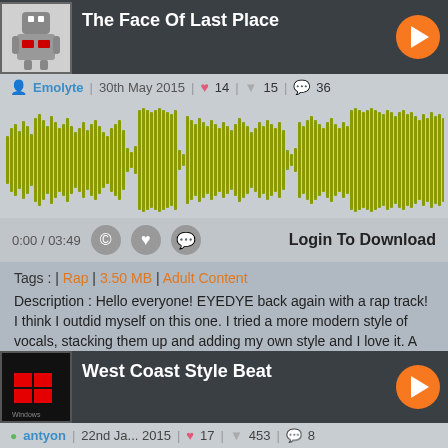The Face Of Last Place
Emolyte | 30th May 2015 | ♥ 14 | ▼ 15 | 💬 36
[Figure (other): Audio waveform visualization in olive/yellow-green color on gray background]
0:00 / 03:49  Login To Download
Tags : | Rap | 3.50 MB | Adult Content
Description : Hello everyone! EYEDYE back again with a rap track! I think I outdid myself on this one. I tried a more modern style of vocals, stacking them up and adding my own style and I love it. A little short for my taste, but I've just got so many projects. Solo stuff, My metal Band, and providing vocals for other loopers. (I didnt forget about you Danke!!!) So, for now, take it as is and maybe I'll return to it one day. Let me know what you think!
West Coast Style Beat
antyon | 22nd Ja... 2015 | ♥ 17 | ▼ 453 | 💬 8